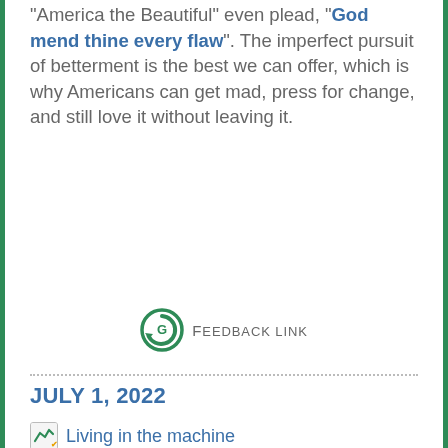"America the Beautiful" even plead, "God mend thine every flaw". The imperfect pursuit of betterment is the best we can offer, which is why Americans can get mad, press for change, and still love it without leaving it.
[Figure (logo): Green circular G logo with FEEDBACK LINK text in small caps]
JULY 1, 2022
Living in the machine
"A house is a machine for living in", wrote the architect Le Corbusier a century ago. The phrase sounds coldly rational -- is not a house supposed to be more than that? Doesn't a mere house aspire to be a home filled with love, a safe shelter from storms,